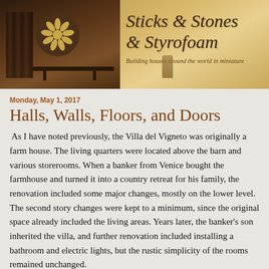[Figure (illustration): Blog banner header for 'Sticks & Stones & Styrofoam' with subtitle 'Building houses around the world in miniature'. Left side shows dark interior with flower medallion and wooden shelf. Right side shows warm yellow-toned background with italic script title text.]
Monday, May 1, 2017
Halls, Walls, Floors, and Doors
As I have noted previously, the Villa del Vigneto was originally a farm house. The living quarters were located above the barn and various storerooms. When a banker from Venice bought the farmhouse and turned it into a country retreat for his family, the renovation included some major changes, mostly on the lower level. The second story changes were kept to a minimum, since the original space already included the living areas. Years later, the banker's son inherited the villa, and further renovation included installing a bathroom and electric lights, but the rustic simplicity of the rooms remained unchanged.